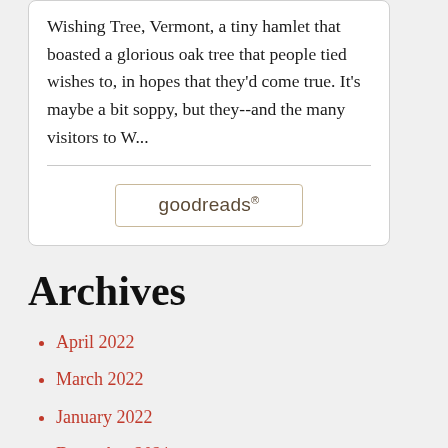Wishing Tree, Vermont, a tiny hamlet that boasted a glorious oak tree that people tied wishes to, in hopes that they'd come true. It's maybe a bit soppy, but they--and the many visitors to W...
[Figure (logo): goodreads logo button with rounded rectangle border]
Archives
April 2022
March 2022
January 2022
December 2021
November 2021